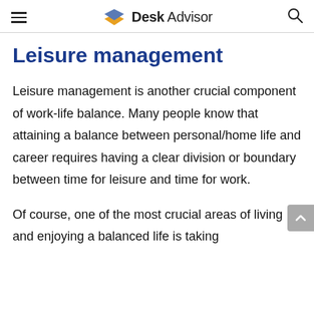Desk Advisor
Leisure management
Leisure management is another crucial component of work-life balance. Many people know that attaining a balance between personal/home life and career requires having a clear division or boundary between time for leisure and time for work.
Of course, one of the most crucial areas of living and enjoying a balanced life is taking